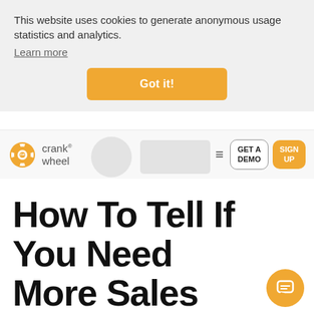This website uses cookies to generate anonymous usage statistics and analytics.
Learn more
Got it!
[Figure (logo): CrankWheel logo with orange gear icon and text 'crank wheel']
GET A DEMO
SIGN UP
How To Tell If You Need More Sales Executives?